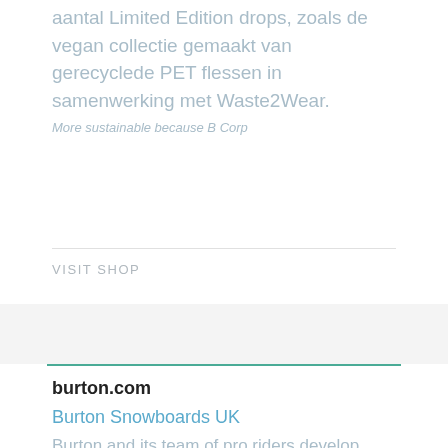aantal Limited Edition drops, zoals de vegan collectie gemaakt van gerecyclede PET flessen in samenwerking met Waste2Wear.
More sustainable because B Corp
VISIT SHOP
burton.com
Burton Snowboards UK
Burton and its team of pro riders develop products for snowboarding and the snowboard lifestyle, including snowboards, boots, bindings, outerwear and layering as